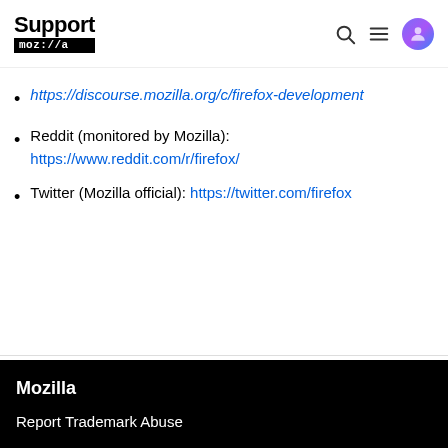Support mozilla:///a
https://discourse.mozilla.org/c/firefox-development
Reddit (monitored by Mozilla): https://www.reddit.com/r/firefox/
Twitter (Mozilla official): https://twitter.com/firefox
Mozilla
Report Trademark Abuse